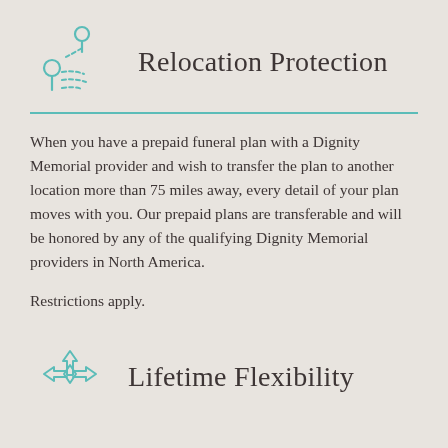[Figure (illustration): Teal/cyan line-art icon of two map location pins connected by a dashed path, representing relocation]
Relocation Protection
When you have a prepaid funeral plan with a Dignity Memorial provider and wish to transfer the plan to another location more than 75 miles away, every detail of your plan moves with you. Our prepaid plans are transferable and will be honored by any of the qualifying Dignity Memorial providers in North America.
Restrictions apply.
[Figure (illustration): Teal/cyan line-art icon of a four-directional arrow symbol (up and two diagonal arrows), representing lifetime flexibility]
Lifetime Flexibility